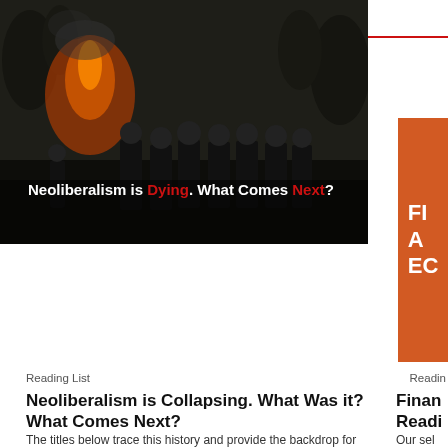Related blog posts
[Figure (photo): Dark photograph of riot police in helmets and gear, with fire and smoke in the background. Overlaid text reads: 'Neoliberalism is Dying. What Comes Next?' with 'Dying' and 'Next' in red.]
Reading List
Neoliberalism is Collapsing. What Was it? What Comes Next?
The titles below trace this history and provide the backdrop for understanding class struggle today in the context of the collapse of neoliberalism:
[Figure (photo): Partially visible orange card on the right side, with white bold text showing 'FI', 'A', 'EC' (truncated).]
Readin
Finan Readi
Our sel academ Septen